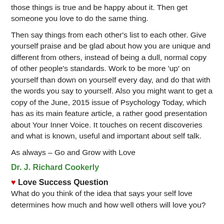those things is true and be happy about it.  Then get someone you love to do the same thing.
Then say things from each other’s list to each other.  Give yourself praise and be glad about how you are unique and different from others, instead of being a dull, normal copy of other people’s standards.  Work to be more ‘up’ on yourself than down on yourself every day, and do that with the words you say to yourself.  Also you might want to get a copy of the June, 2015 issue of Psychology Today, which has as its main feature article, a rather good presentation about Your Inner Voice.  It touches on recent discoveries and what is known, useful and important about self talk.
As always – Go and Grow with Love
Dr. J. Richard Cookerly
♥ Love Success Question
What do you think of the idea that says your self love determines how much and how well others will love you?